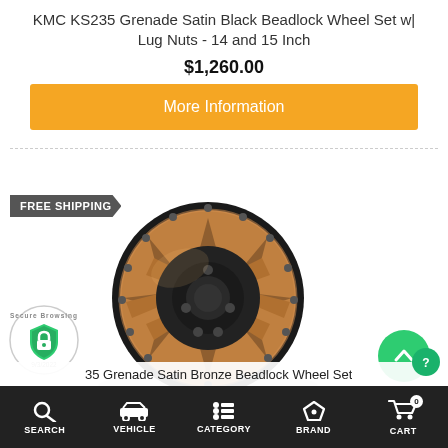KMC KS235 Grenade Satin Black Beadlock Wheel Set w| Lug Nuts - 14 and 15 Inch
$1,260.00
More Information
FREE SHIPPING
[Figure (photo): A KMC KS235 Grenade beadlock wheel in satin bronze finish with black beadlock ring, displayed at an angle showing the spoke design and center hub.]
35 Grenade Satin Bronze Beadlock Wheel Set
SEARCH  VEHICLE  CATEGORY  BRAND  CART